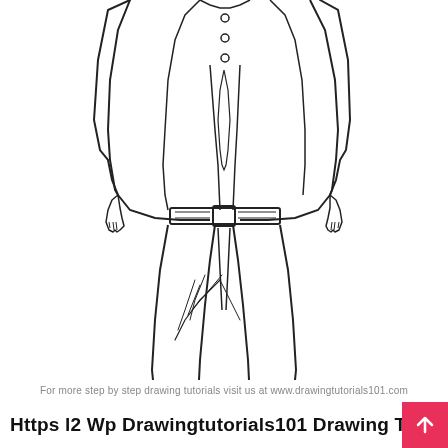[Figure (illustration): Line art drawing of a male anime/manga character's body from torso down, wearing a blazer/jacket with buttons, a belt, dress pants with fabric folds/wrinkles, and slouchy boots. Hands are partially visible at the sides. The figure is cropped at the torso top and shows full legs and feet.]
For more step by step drawing tutorials visit us at www.drawingtutorials101.com
Https l2 Wp Drawingtutorials101 Drawing Tutorial